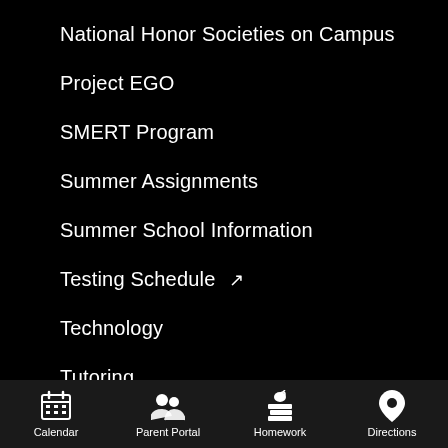National Honor Societies on Campus
Project EGO
SMERT Program
Summer Assignments
Summer School Information
Testing Schedule ↗
Technology
Tutoring
Calendar  Parent Portal  Homework  Directions